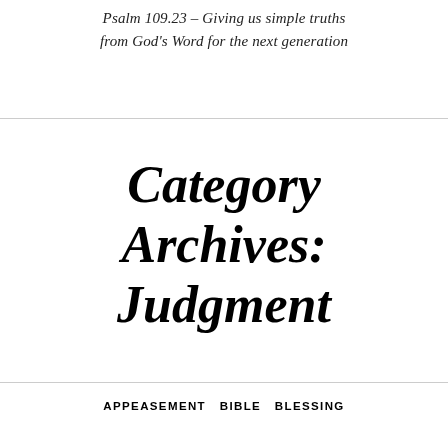Psalm 109.23 – Giving us simple truths from God's Word for the next generation
Category Archives: Judgment
APPEASEMENT  BIBLE  BLESSING